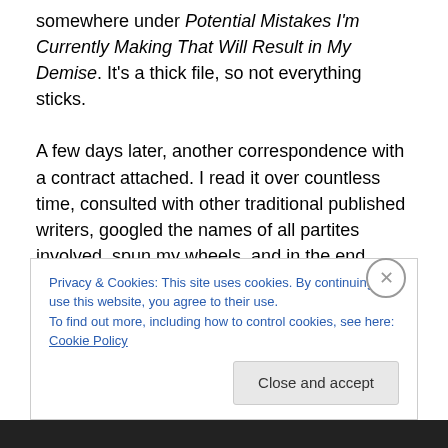somewhere under Potential Mistakes I'm Currently Making That Will Result in My Demise. It's a thick file, so not everything sticks.

A few days later, another correspondence with a contract attached. I read it over countless time, consulted with other traditional published writers, googled the names of all partites involved, spun my wheels, and in the end decided to allow possibly ten percent of myself believe it was legit. $1000 advance, and a small percentage of any of the 1500/2000 copies they were planning on publishing
Privacy & Cookies: This site uses cookies. By continuing to use this website, you agree to their use.
To find out more, including how to control cookies, see here: Cookie Policy
Close and accept